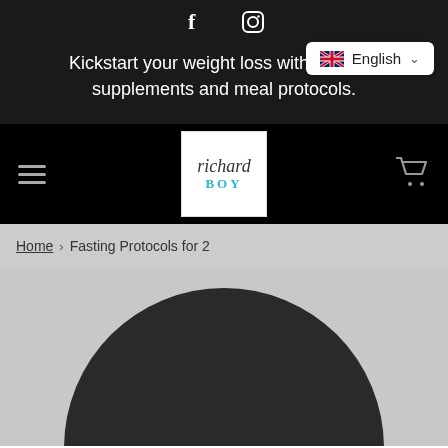f  (instagram icon)
English
Kickstart your weight loss with the right supplements and meal protocols.
[Figure (logo): Richard Boy brand logo in white box with handwritten 'richard' and bold blue 'BOY' text]
Home › Fasting Protocols for 2
[Figure (photo): Dark circle background with large white bold text reading 'FASTING' partially visible at the bottom]